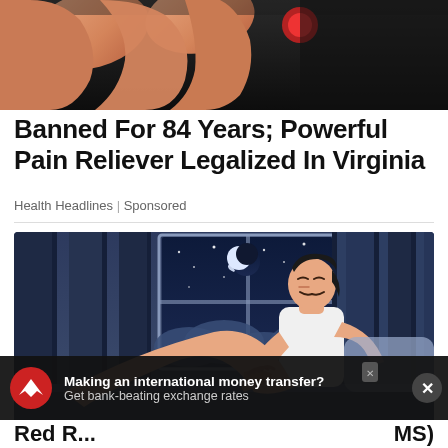[Figure (photo): Close-up photo of fingers against a dark background]
Banned For 84 Years; Powerful Pain Reliever Legalized In Virginia
Health Headlines | Sponsored
[Figure (illustration): Illustration of a man in a white tank top sitting on a bed at night, holding his leg/knee, with a window showing a crescent moon and stars in the background]
Making an international money transfer? Get bank-beating exchange rates
Red R... MS)